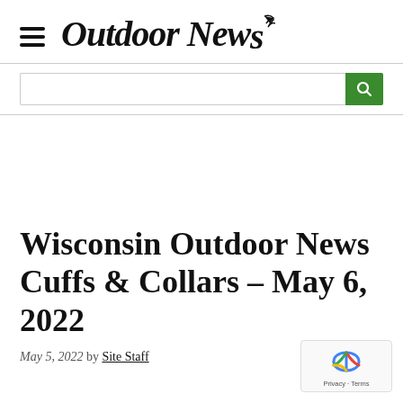Outdoor News
Search bar
Wisconsin Outdoor News Cuffs & Collars – May 6, 2022
May 5, 2022 by Site Staff